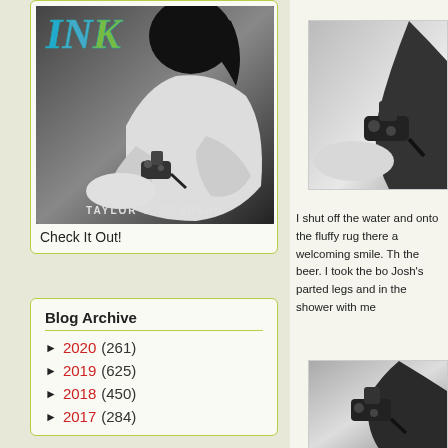[Figure (photo): Book cover for 'INK' by Taylor V. Donovan showing a black and white photo of a person holding a tattoo machine. The title 'INK' appears in teal/green gradient letters at the top.]
Check It Out!
Blog Archive
► 2020 (261)
► 2019 (625)
► 2018 (450)
► 2017 (284)
[Figure (photo): Partial photo on right side showing a tattoo machine and hand in black and white.]
I shut off the water and onto the fluffy rug there a welcoming smile. Th the beer. I took the bo Josh's parted legs and in the shower with me
[Figure (photo): Partial photo at bottom right showing a tattoo machine in black and white.]